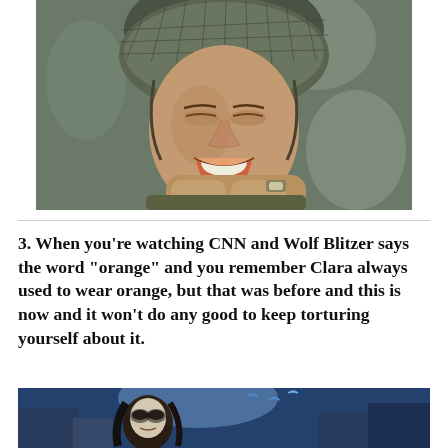[Figure (photo): A young soldier wearing a WWII-era military helmet with netting, crying or grimacing with intense emotion, clutching his hands together. Dark, dramatic lighting with blurred background.]
3. When you’re watching CNN and Wolf Blitzer says the word “orange” and you remember Clara always used to wear orange, but that was before and this is now and it won’t do any good to keep torturing yourself about it.
[Figure (photo): A dark, dramatic scene showing a figure with long dark hair and dramatic makeup or face paint, partially illuminated. Birds (appearing blue) are visible in the background against a blue-toned sky.]